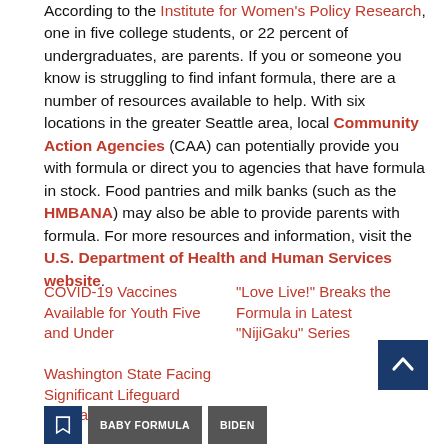According to the Institute for Women's Policy Research, one in five college students, or 22 percent of undergraduates, are parents. If you or someone you know is struggling to find infant formula, there are a number of resources available to help. With six locations in the greater Seattle area, local Community Action Agencies (CAA) can potentially provide you with formula or direct you to agencies that have formula in stock. Food pantries and milk banks (such as the HMBANA) may also be able to provide parents with formula. For more resources and information, visit the U.S. Department of Health and Human Services website.
COVID-19 Vaccines Available for Youth Five and Under
"Love Live!" Breaks the Formula in Latest "NijiGaku" Series
Washington State Facing Significant Lifeguard Shortage
[Figure (other): Back to top button — dark blue square with white upward chevron arrow]
[Figure (other): Tag icon — dark blue square with white bookmark/tag icon]
BABY FORMULA
BIDEN